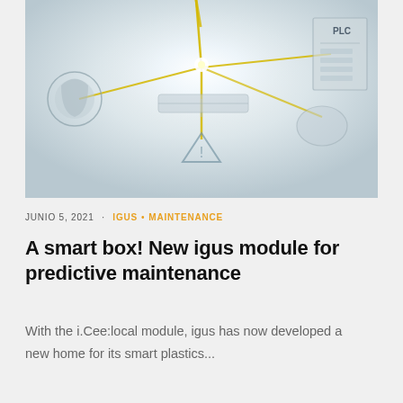[Figure (schematic): Engineering/IoT schematic diagram showing a network of connected components with yellow lines on a grey-blue background. Contains circular module icons on the left, a bright central hub, warning triangle symbol, PLC box on the right, and various connection lines radiating outward.]
JUNIO 5, 2021 · IGUS · MAINTENANCE
A smart box! New igus module for predictive maintenance
With the i.Cee:local module, igus has now developed a new home for its smart plastics...